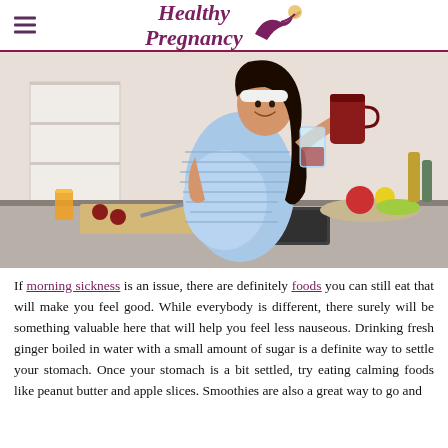Healthy Pregnancy
[Figure (photo): Pregnant woman in kitchen pouring red juice from a pitcher into a glass, with fruits and vegetables on the counter]
If morning sickness is an issue, there are definitely foods you can still eat that will make you feel good. While everybody is different, there surely will be something valuable here that will help you feel less nauseous. Drinking fresh ginger boiled in water with a small amount of sugar is a definite way to settle your stomach. Once your stomach is a bit settled, try eating calming foods like peanut butter and apple slices. Smoothies are also a great way to go and